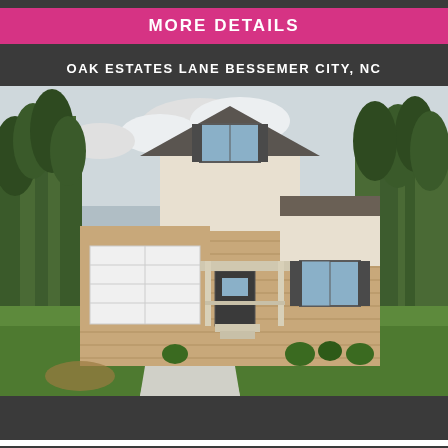MORE DETAILS
OAK ESTATES LANE BESSEMER CITY, NC
[Figure (photo): Exterior photo of a new construction brick and siding home with two-car garage, covered porch, and landscaped yard surrounded by trees. Located on Oak Estates Lane, Bessemer City, NC.]
PRICE  $495000